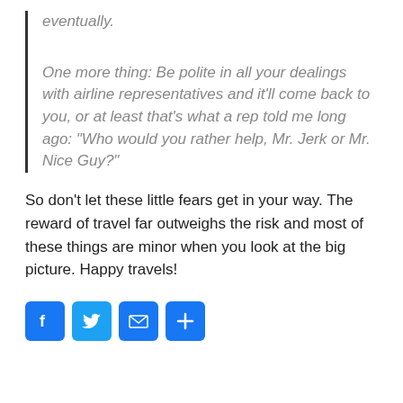eventually.
One more thing: Be polite in all your dealings with airline representatives and it'll come back to you, or at least that's what a rep told me long ago: “Who would you rather help, Mr. Jerk or Mr. Nice Guy?”
So don’t let these little fears get in your way.  The reward of travel far outweighs the risk and most of these things are minor when you look at the big picture.  Happy travels!
[Figure (other): Social sharing icons: Facebook, Twitter, Email, and Plus/Share buttons]